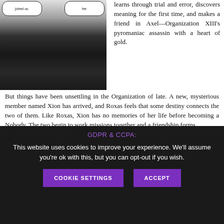[Figure (illustration): Black and white manga/comic illustration showing dark-robed figures with speech bubbles reading 'joined us.' and 'her.']
learns through trial and error, discovers meaning for the first time, and makes a friend in Axel—Organization XIII's pyromaniac assassin with a heart of gold.
But things have been unsettling in the Organization of late. A new, mysterious member named Xion has arrived, and Roxas feels that some destiny connects the two of them. Like Roxas, Xion has no memories of her life before becoming a Nobody. The two begin to work missions together and a friendship forms.
And then there's the Keyblade—a mysterious, key-shaped
GDPR & CCPA:
This website uses cookies to improve your experience. We'll assume you're ok with this, but you can opt-out if you wish.
COOKIE SETTINGS
ACCEPT